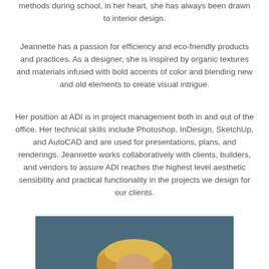methods during school, in her heart, she has always been drawn to interior design.
Jeannette has a passion for efficiency and eco-friendly products and practices. As a designer, she is inspired by organic textures and materials infused with bold accents of color and blending new and old elements to create visual intrigue.
Her position at ADI is in project management both in and out of the office. Her technical skills include Photoshop, InDesign, SketchUp, and AutoCAD and are used for presentations, plans, and renderings. Jeannette works collaboratively with clients, builders, and vendors to assure ADI reaches the highest level aesthetic sensibility and practical functionality in the projects we design for our clients.
[Figure (photo): Portrait photo of a blonde woman against a dark teal/blue background, cropped showing the top portion of the head]